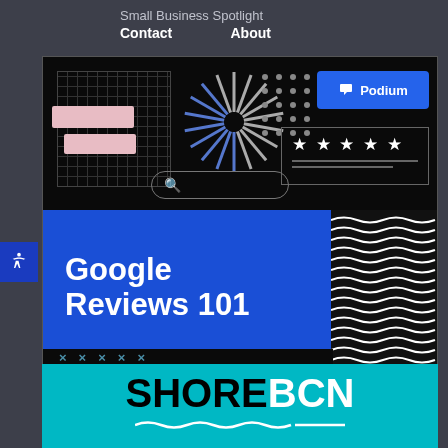Small Business Spotlight
Contact    About
[Figure (screenshot): Podium Google Reviews 101 promotional banner image on dark background with grid, starburst, dots, review stars, search bar, and blue panel with 'Google Reviews 101' text]
[Figure (logo): ShoreBCN logo on teal/cyan background with wavy underline design]